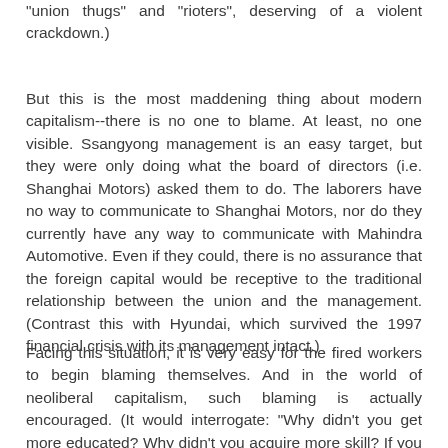"union thugs" and "rioters", deserving of a violent crackdown.)
But this is the most maddening thing about modern capitalism--there is no one to blame. At least, no one visible. Ssangyong management is an easy target, but they were only doing what the board of directors (i.e. Shanghai Motors) asked them to do. The laborers have no way to communicate to Shanghai Motors, nor do they currently have any way to communicate with Mahindra Automotive. Even if they could, there is no assurance that the foreign capital would be receptive to the traditional relationship between the union and the management. (Contrast this with Hyundai, which survived the 1997 financial crisis with its management intact.)
Facing this situation, it is very easy for the fired workers to begin blaming themselves. And in the world of neoliberal capitalism, such blaming is actually encouraged. (It would interrogate: "Why didn't you get more educated? Why didn't you acquire more skill? If you were just a little smarter, tried just a little harder, you would not be in the situation that you